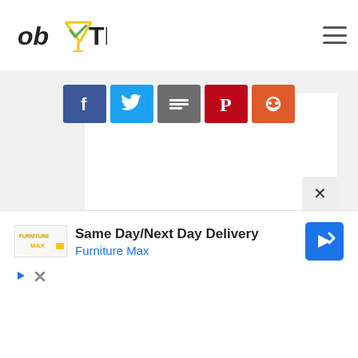[Figure (logo): obYTIC website logo with martini glass icon and hamburger menu]
[Figure (infographic): Social share buttons: Facebook (blue), Twitter (light blue), More/Share (grey), Pinterest (dark red), Reddit/other (orange-red)]
[Figure (screenshot): Main white content area (article body, content not visible)]
[Figure (infographic): Advertisement banner: Furniture Max - Same Day/Next Day Delivery with navigation arrow icon, play and close controls]